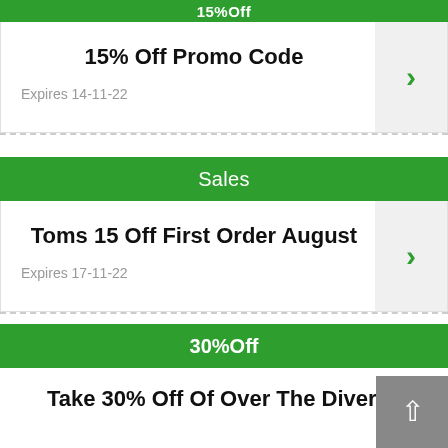15%Off
15% Off Promo Code
Expires 14-11-22
Sales
Toms 15 Off First Order August
Expires 17-11-22
30%Off
Take 30% Off Of Over The Diverse